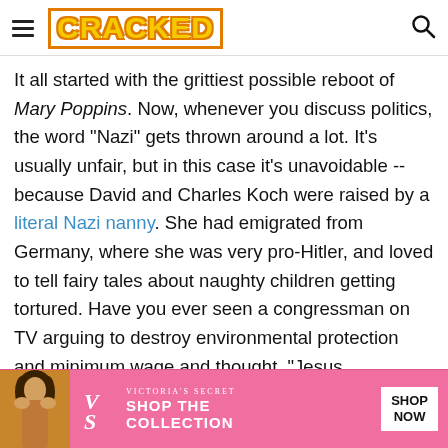CRACKED
It all started with the grittiest possible reboot of Mary Poppins. Now, whenever you discuss politics, the word "Nazi" gets thrown around a lot. It's usually unfair, but in this case it's unavoidable -- because David and Charles Koch were raised by a literal Nazi nanny. She had emigrated from Germany, where she was very pro-Hitler, and loved to tell fairy tales about naughty children getting tortured. Have you ever seen a congressman on TV arguing to destroy environmental protection and minimum wage and thought, "Jesus,
[Figure (photo): Victoria's Secret advertisement banner with woman model, VS logo, SHOP THE COLLECTION text, and SHOP NOW button on pink background]